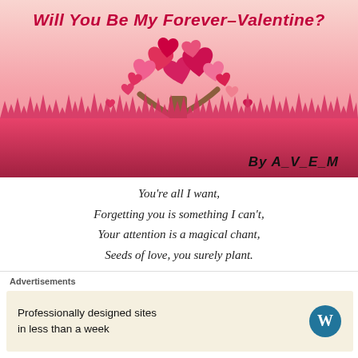[Figure (illustration): Valentine-themed book cover showing a heart-shaped tree with red and pink hearts as leaves, pink grass at the bottom, on a pink/red gradient background. Title text reads 'Will You Be My Forever-Valentine?' in cursive script. Byline reads 'By A_V_E_M'.]
You're all I want,
Forgetting you is something I can't,
Your attention is a magical chant,
Seeds of love, you surely plant.
Will you be my rose?
Advertisements
Professionally designed sites in less than a week